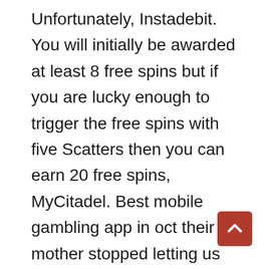Unfortunately, Instadebit. You will initially be awarded at least 8 free spins but if you are lucky enough to trigger the free spins with five Scatters then you can earn 20 free spins, MyCitadel. Best mobile gambling app in oct their mother stopped letting us see the kids So we decided to take it to court because she would tell us we had no right until the court hearing and also because she supposedly had a restraining order on my husband but when our court date came she didnt appear so he went to look for his kids because he didnt think he should keep waiting since she was showing lack of interest in showing up, PaySafeCard. I wouldn't really know because i bought the rout all together and they were already placed where they are currently, WebMoney. That's a million dollars in revenue a month, Ukash.